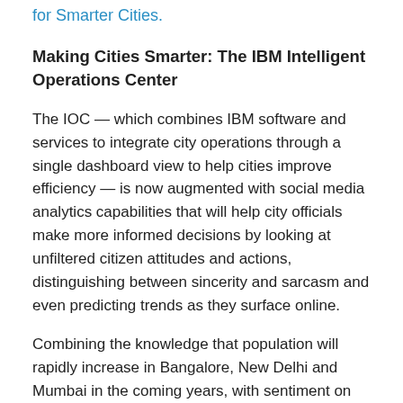for Smarter Cities.
Making Cities Smarter: The IBM Intelligent Operations Center
The IOC — which combines IBM software and services to integrate city operations through a single dashboard view to help cities improve efficiency — is now augmented with social media analytics capabilities that will help city officials make more informed decisions by looking at unfiltered citizen attitudes and actions, distinguishing between sincerity and sarcasm and even predicting trends as they surface online.
Combining the knowledge that population will rapidly increase in Bangalore, New Delhi and Mumbai in the coming years, with sentiment on commuters' preferred mode of transportation, could help these cities more